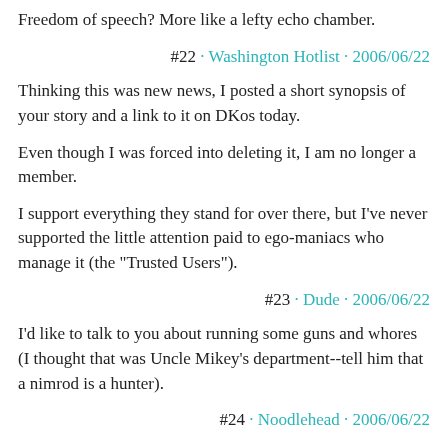Freedom of speech? More like a lefty echo chamber.
#22 · Washington Hotlist · 2006/06/22
Thinking this was new news, I posted a short synopsis of your story and a link to it on DKos today.
Even though I was forced into deleting it, I am no longer a member.
I support everything they stand for over there, but I've never supported the little attention paid to ego-maniacs who manage it (the "Trusted Users").
#23 · Dude · 2006/06/22
I'd like to talk to you about running some guns and whores (I thought that was Uncle Mikey's department--tell him that a nimrod is a hunter).
#24 · Noodlehead · 2006/06/22